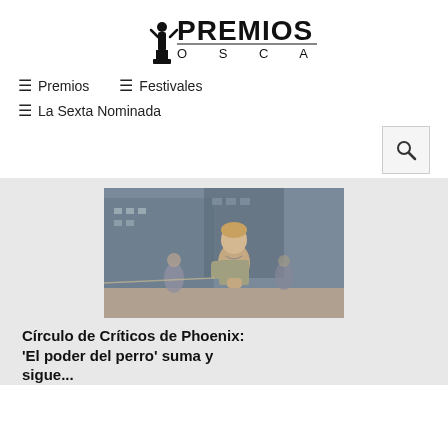[Figure (logo): Premios Oscar logo with Oscar statuette and text PREMIOS OSCAR]
≡ Premios
≡ Festivales
≡ La Sexta Nominada
[Figure (photo): Young person in grey shirt standing outdoors with a construction/urban background]
Círculo de Críticos de Phoenix: 'El poder del perro' suma y sigue...